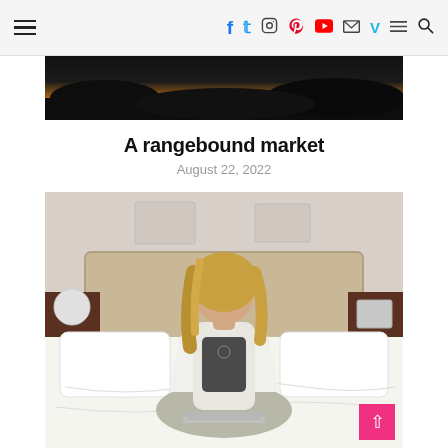A rangebound market — blog navigation header with social icons: Facebook, Twitter, Instagram, Pinterest, YouTube, Email, Vimeo, Menu, Search
[Figure (photo): Dark silhouette against orange/golden sunset sky — top cropped image]
A rangebound market
August 22, 2022
[Figure (photo): Woman with blonde hair sitting cross-legged on a white bed, wearing white cardigan and dark top, looking down at a laptop, bedroom setting with wooden headboard and white pillows]